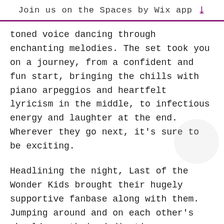Join us on the Spaces by Wix app
toned voice dancing through enchanting melodies. The set took you on a journey, from a confident and fun start, bringing the chills with piano arpeggios and heartfelt lyricism in the middle, to infectious energy and laughter at the end. Wherever they go next, it's sure to be exciting.
Headlining the night, Last of the Wonder Kids brought their hugely supportive fanbase along with them. Jumping around and on each other's shoulders, their dedication